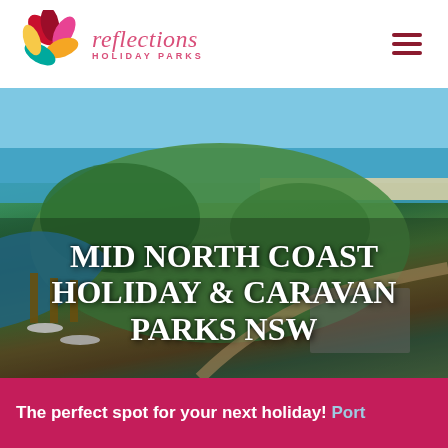[Figure (logo): Reflections Holiday Parks logo with colorful flower/leaf design and pink italic text]
[Figure (photo): Aerial view of a coastal holiday park on the Mid North Coast NSW showing marina, green lawns, trees, beach, and ocean in the background]
MID NORTH COAST HOLIDAY & CARAVAN PARKS NSW
The perfect spot for your next holiday! Port